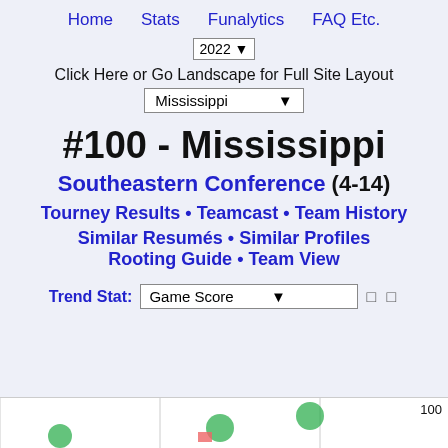Home  Stats  Funalytics  FAQ Etc.
2022 ▾
Click Here or Go Landscape for Full Site Layout
Mississippi ▾
#100 - Mississippi
Southeastern Conference (4-14)
Tourney Results • Teamcast • Team History
Similar Resumés • Similar Profiles Rooting Guide • Team View
Trend Stat: Game Score ▾  □ □
100